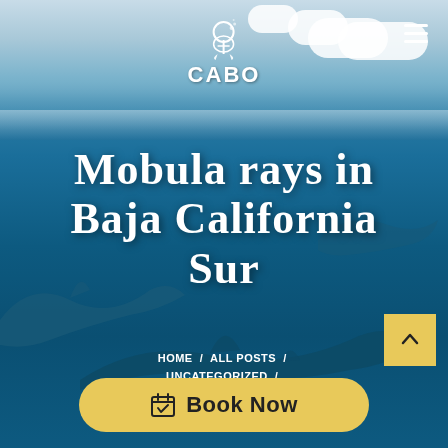[Figure (photo): Website screenshot showing Mobula Rays in Baja California Sur page with underwater photo of rays/dolphins swimming, blue ocean background, clouds, CABO logo, hamburger menu, breadcrumb navigation, scroll-to-top button, and Book Now button]
Mobula rays in Baja California Sur
HOME  /  ALL POSTS  /  UNCATEGORIZED  /  MOBULA RAYS IN BAJA CALIFORNIA SUR